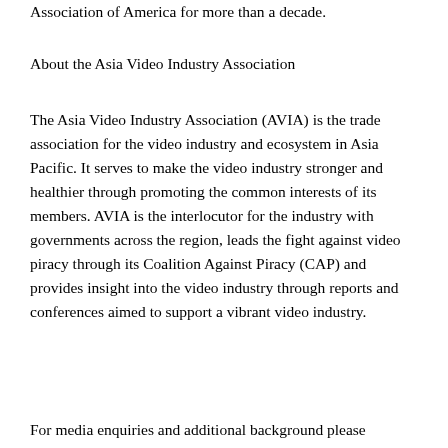Association of America for more than a decade.
About the Asia Video Industry Association
The Asia Video Industry Association (AVIA) is the trade association for the video industry and ecosystem in Asia Pacific. It serves to make the video industry stronger and healthier through promoting the common interests of its members. AVIA is the interlocutor for the industry with governments across the region, leads the fight against video piracy through its Coalition Against Piracy (CAP) and provides insight into the video industry through reports and conferences aimed to support a vibrant video industry.
For media enquiries and additional background please